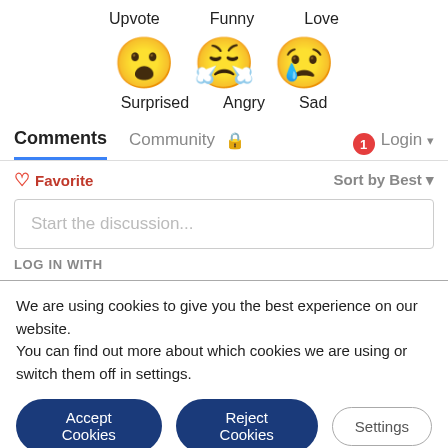Upvote  Funny  Love
[Figure (illustration): Three emoji reactions: Surprised (😮), Angry (😤 crying), Sad (😢)]
Surprised  Angry  Sad
Comments  Community  [lock]  [1] Login
♡ Favorite   Sort by Best ▾
Start the discussion...
LOG IN WITH
We are using cookies to give you the best experience on our website.
You can find out more about which cookies we are using or switch them off in settings.
Accept Cookies  Reject Cookies  Settings